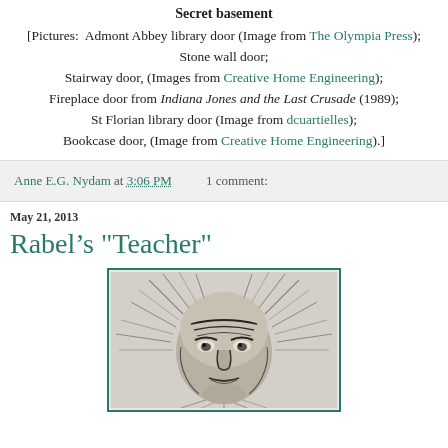Secret basement
[Pictures: Admont Abbey library door (Image from The Olympia Press); Stone wall door; Stairway door, (Images from Creative Home Engineering); Fireplace door from Indiana Jones and the Last Crusade (1989); St Florian library door (Image from dcuartielles); Bookcase door, (Image from Creative Home Engineering).]
Anne E.G. Nydam at 3:06 PM   1 comment:
May 21, 2013
Rabel's "Teacher"
[Figure (illustration): Black and white woodcut-style illustration of an elderly person's face with wispy radiating hair, rendered in engraving/woodblock print style]